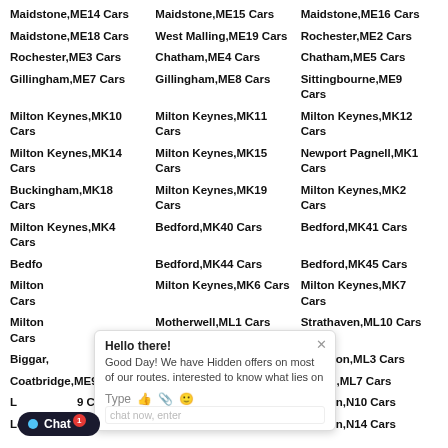Maidstone,ME14 Cars
Maidstone,ME15 Cars
Maidstone,ME16 Cars
Maidstone,ME18 Cars
West Malling,ME19 Cars
Rochester,ME2 Cars
Rochester,ME3 Cars
Chatham,ME4 Cars
Chatham,ME5 Cars
Gillingham,ME7 Cars
Gillingham,ME8 Cars
Sittingbourne,ME9 Cars
Milton Keynes,MK10 Cars
Milton Keynes,MK11 Cars
Milton Keynes,MK12 Cars
Milton Keynes,MK14 Cars
Milton Keynes,MK15 Cars
Newport Pagnell,MK1 Cars
Buckingham,MK18 Cars
Milton Keynes,MK19 Cars
Milton Keynes,MK2 Cars
Milton Keynes,MK4 Cars
Bedford,MK40 Cars
Bedford,MK41 Cars
Bedford,MK43 Cars
Bedford,MK44 Cars
Bedford,MK45 Cars
Milton Keynes,MK5 Cars
Milton Keynes,MK6 Cars
Milton Keynes,MK7 Cars
Milton Keynes,MK8 Cars
Motherwell,ML1 Cars
Strathaven,ML10 Cars
Biggar,ML12 Cars
Wishaw,ML2 Cars
Hamilton,ML3 Cars
Coatbridge,ME9 Cars
Airdrie,ML6 Cars
Shotts,ML7 Cars
London,N19 Cars
London,N1 Cars
London,N10 Cars
London,N12 Cars
London,N13 Cars
London,N14 Cars